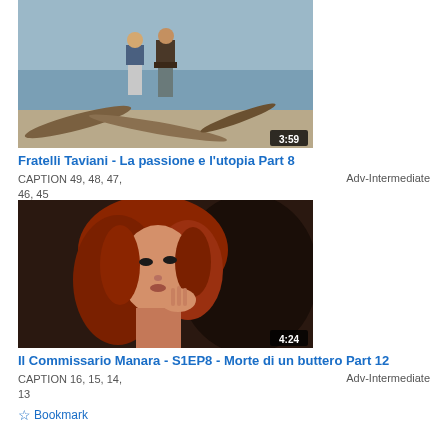[Figure (screenshot): Video thumbnail showing two men standing on a beach with driftwood, duration 3:59]
Fratelli Taviani - La passione e l'utopia Part 8
CAPTION 49, 48, 47, 46, 45    Adv-Intermediate
☆ Bookmark
[Figure (screenshot): Video thumbnail showing a red-haired woman looking to the side with hand near mouth, duration 4:24]
Il Commissario Manara - S1EP8 - Morte di un buttero Part 12
CAPTION 16, 15, 14, 13    Adv-Intermediate
☆ Bookmark